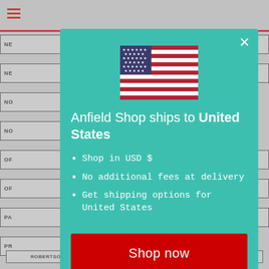[Figure (screenshot): Background of an e-commerce website (Anfield Shop) showing navigation menu items and a top bar with hamburger icon, partially obscured by a modal dialog.]
[Figure (illustration): US flag emoji/icon centered at top of modal dialog]
Anfield Shop ships to United States
Shop in USD $
No additional fees at delivery
Get shipping options for United States
Shop now
Change shipping country